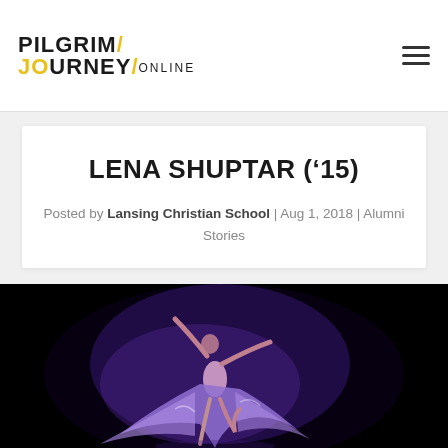PILGRIM JOURNEY ONLINE
LENA SHUPTAR (’15)
Posted by Lansing Christian School | Aug 1, 2018 | Alumni Stories
[Figure (photo): A dancer in a purple/lavender flowing costume performing on a dark stage, captured mid-movement with arms extended and skirt billowing]